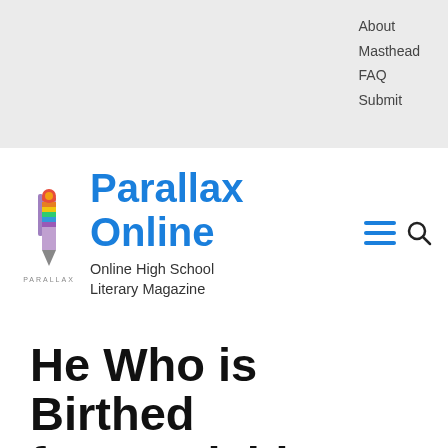About
Masthead
FAQ
Submit
Parallax Online
Online High School Literary Magazine
He Who is Birthed from Suicide's